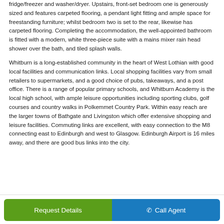fridge/freezer and washer/dryer. Upstairs, front-set bedroom one is generously sized and features carpeted flooring, a pendant light fitting and ample space for freestanding furniture; whilst bedroom two is set to the rear, likewise has carpeted flooring. Completing the accommodation, the well-appointed bathroom is fitted with a modern, white three-piece suite with a mains mixer rain head shower over the bath, and tiled splash walls.
Whitburn is a long-established community in the heart of West Lothian with good local facilities and communication links. Local shopping facilities vary from small retailers to supermarkets, and a good choice of pubs, takeaways, and a post office. There is a range of popular primary schools, and Whitburn Academy is the local high school, with ample leisure opportunities including sporting clubs, golf courses and country walks in Polkemmet Country Park. Within easy reach are the larger towns of Bathgate and Livingston which offer extensive shopping and leisure facilities. Commuting links are excellent, with easy connection to the M8 connecting east to Edinburgh and west to Glasgow. Edinburgh Airport is 16 miles away, and there are good bus links into the city.
Request Details
Call Agent